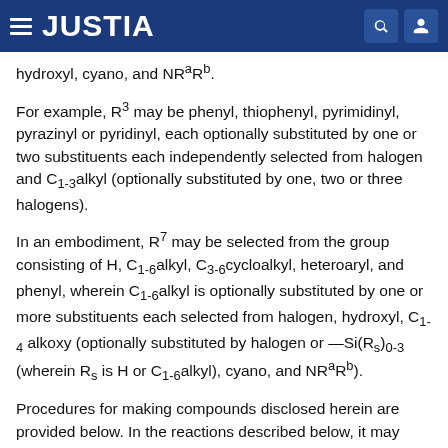JUSTIA
hydroxyl, cyano, and NRaRb.
For example, R3 may be phenyl, thiophenyl, pyrimidinyl, pyrazinyl or pyridinyl, each optionally substituted by one or two substituents each independently selected from halogen and C1-3alkyl (optionally substituted by one, two or three halogens).
In an embodiment, R7 may be selected from the group consisting of H, C1-6alkyl, C3-6cycloalkyl, heteroaryl, and phenyl, wherein C1-6alkyl is optionally substituted by one or more substituents each selected from halogen, hydroxyl, C1-4 alkoxy (optionally substituted by halogen or —Si(Rs)0-3 (wherein Rs is H or C1-6alkyl), cyano, and NRaRb).
Procedures for making compounds disclosed herein are provided below. In the reactions described below, it may